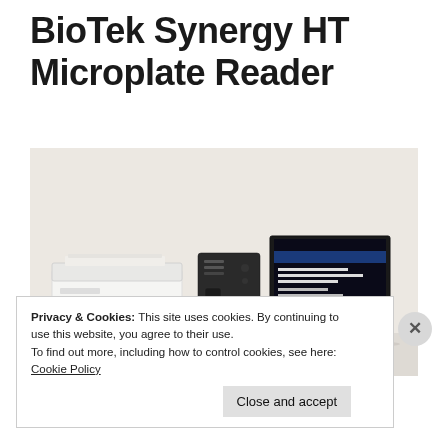BioTek Synergy HT Microplate Reader
[Figure (photo): Photo of a BioTek Synergy HT Microplate Reader device (white box-shaped instrument), alongside a black tower computer and a monitor displaying boot/login screen text, all set against a light beige/white background.]
Privacy & Cookies: This site uses cookies. By continuing to use this website, you agree to their use.
To find out more, including how to control cookies, see here: Cookie Policy
Close and accept